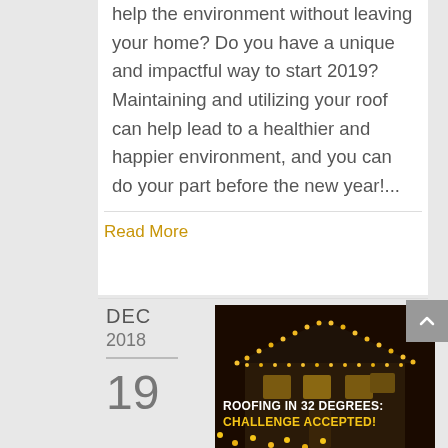help the environment without leaving your home? Do you have a unique and impactful way to start 2019? Maintaining and utilizing your roof can help lead to a healthier and happier environment, and you can do your part before the new year!...
Read More
DEC
2018
19
[Figure (photo): House decorated with Christmas lights at night with text overlay: ROOFING IN 32 DEGREES: CHALLENGE ACCEPTED!]